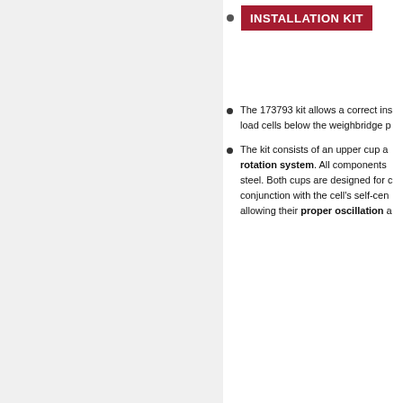INSTALLATION KIT
The 173793 kit allows a correct installation of load cells below the weighbridge p…
The kit consists of an upper cup and a rotation system. All components are made of steel. Both cups are designed for conjunction with the cell's self-centering system, allowing their proper oscillation a…